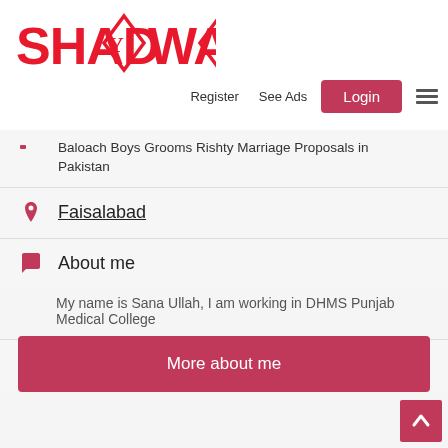[Figure (logo): ShadyWady logo in red with diamond shapes containing letter Y]
Register   See Ads   Login   ☰
Baloach Boys Grooms Rishty Marriage Proposals in Pakistan
Faisalabad
About me
My name is Sana Ullah, I am working in DHMS Punjab Medical College
Caste: Baloach
More about me